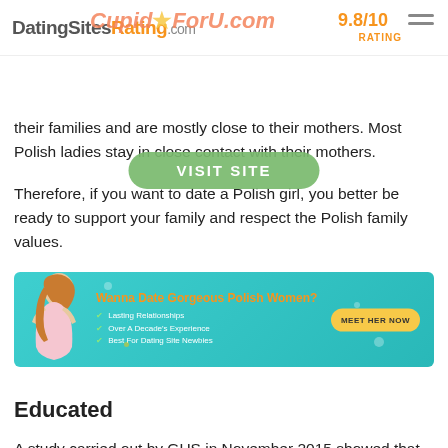DatingSitesRating.com | CupidForU.com | 9.8/10 RATING
their families and are mostly close to their mothers. Most Polish ladies stay in close contact with their mothers.
Therefore, if you want to date a Polish girl, you better be ready to support your family and respect the Polish family values.
[Figure (infographic): Advertisement banner for dating site featuring a woman, teal background, text 'Wanna Date Gorgeous Polish Women?', checkmarks for Lasting Relationships, Over A Decade's Experience, Best For Dating Site Newbies, and a yellow MEET HER NOW button]
Educated
A study carried out by GUS in November 2015 showed that over 57.7 percent of students in